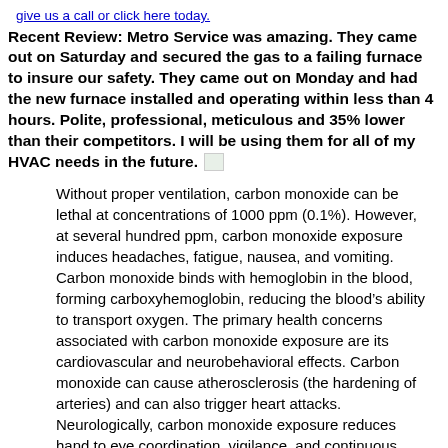give us a call or click here today.
Recent Review: Metro Service was amazing. They came out on Saturday and secured the gas to a failing furnace to insure our safety. They came out on Monday and had the new furnace installed and operating within less than 4 hours. Polite, professional, meticulous and 35% lower than their competitors. I will be using them for all of my HVAC needs in the future.
Without proper ventilation, carbon monoxide can be lethal at concentrations of 1000 ppm (0.1%). However, at several hundred ppm, carbon monoxide exposure induces headaches, fatigue, nausea, and vomiting. Carbon monoxide binds with hemoglobin in the blood, forming carboxyhemoglobin, reducing the blood’s ability to transport oxygen. The primary health concerns associated with carbon monoxide exposure are its cardiovascular and neurobehavioral effects. Carbon monoxide can cause atherosclerosis (the hardening of arteries) and can also trigger heart attacks. Neurologically, carbon monoxide exposure reduces hand to eye coordination, vigilance, and continuous performance. It can also affect time discrimination.[15]